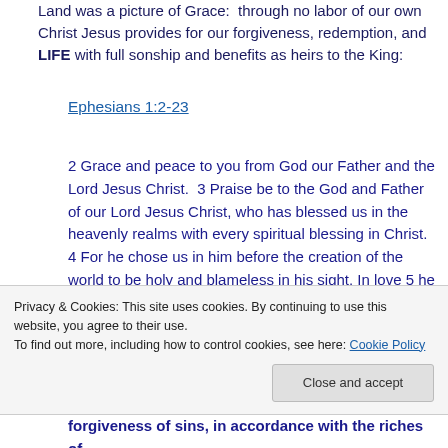Land was a picture of Grace:  through no labor of our own Christ Jesus provides for our forgiveness, redemption, and LIFE with full sonship and benefits as heirs to the King:
Ephesians 1:2-23
2 Grace and peace to you from God our Father and the Lord Jesus Christ.  3 Praise be to the God and Father of our Lord Jesus Christ, who has blessed us in the heavenly realms with every spiritual blessing in Christ. 4 For he chose us in him before the creation of the world to be holy and blameless in his sight. In love 5 he predestined us to be adopted as his sons
Privacy & Cookies: This site uses cookies. By continuing to use this website, you agree to their use.
To find out more, including how to control cookies, see here: Cookie Policy
Close and accept
forgiveness of sins, in accordance with the riches of